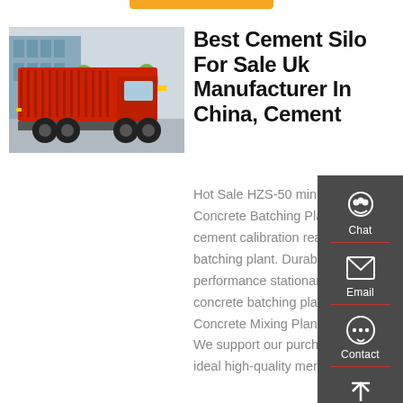[Figure (photo): Red dump truck / tipper truck photographed outdoors on a street, side-rear view showing the large red cargo body raised, with blue building in background.]
Best Cement Silo For Sale Uk Manufacturer In China, Cement
Hot Sale HZS-50 mini Mixed Concrete Batching Plant HZS50 cement calibration ready concrete batching plant. Durable performance stationary small concrete batching plant. 35 M³ Concrete Mixing Plant for Sale. We support our purchasers with ideal high-quality merchandise